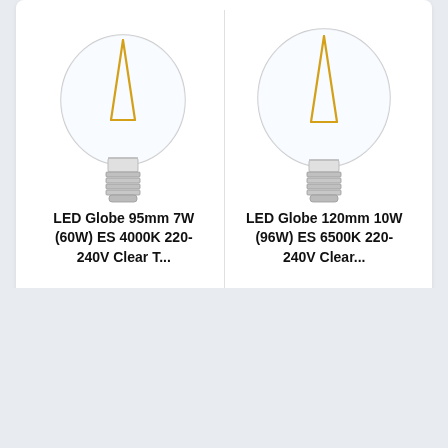[Figure (photo): LED Globe 95mm filament bulb with E27 screw base, clear glass globe shape]
LED Globe 95mm 7W (60W) ES 4000K 220-240V Clear T...
£4.97
Add to cart
[Figure (photo): LED Globe 120mm filament bulb with E27 screw base, clear glass globe shape, larger than 95mm]
LED Globe 120mm 10W (96W) ES 6500K 220-240V Clear...
£8.83
Add to cart